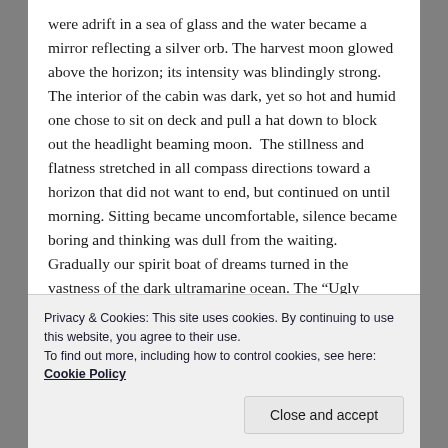were adrift in a sea of glass and the water became a mirror reflecting a silver orb. The harvest moon glowed above the horizon; its intensity was blindingly strong. The interior of the cabin was dark, yet so hot and humid one chose to sit on deck and pull a hat down to block out the headlight beaming moon.  The stillness and flatness stretched in all compass directions toward a horizon that did not want to end, but continued on until morning. Sitting became uncomfortable, silence became boring and thinking was dull from the waiting. Gradually our spirit boat of dreams turned in the vastness of the dark ultramarine ocean. The “Ugly Duckling” made one revolution every hour in the unseen current and this became our keeper of time and two days passed.
Privacy & Cookies: This site uses cookies. By continuing to use this website, you agree to their use.
To find out more, including how to control cookies, see here: Cookie Policy